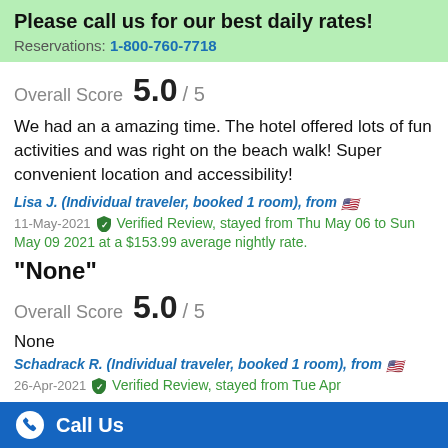Please call us for our best daily rates!
Reservations: 1-800-760-7718
Overall Score 5.0 / 5
We had an a amazing time. The hotel offered lots of fun activities and was right on the beach walk! Super convenient location and accessibility!
Lisa J. (Individual traveler, booked 1 room), from 🇺🇸
11-May-2021 ✦ Verified Review, stayed from Thu May 06 to Sun May 09 2021 at a $153.99 average nightly rate.
"None"
Overall Score 5.0 / 5
None
Schadrack R. (Individual traveler, booked 1 room), from 🇺🇸
26-Apr-2021 ✦ Verified Review, stayed from Tue Apr
Call Us